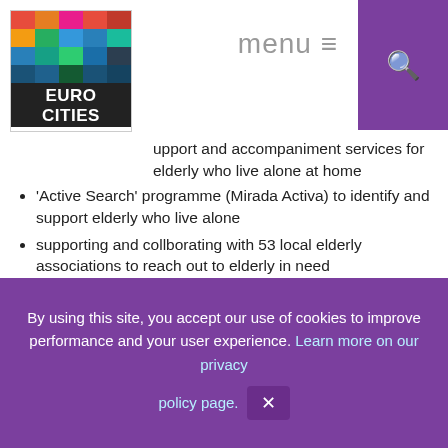menu ≡
[Figure (logo): Eurocities logo with colorful grid and text]
support and accompaniment services for elderly who live alone at home
'Active Search' programme (Mirada Activa) to identify and support elderly who live alone
supporting and collborating with 53 local elderly associations to reach out to elderly in need
investing in maintenance and equipping of Nursing Home Centre
Bilbao will take this commitment further when in 2022 will launch the Nagusi Intelligence Center as a centre for research and innovation into ageing and the opportunities of the silver economy.
By using this site, you accept our use of cookies to improve performance and your user experience. Learn more on our privacy policy page. ✕